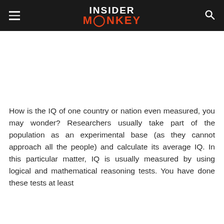INSIDER MONKEY
How is the IQ of one country or nation even measured, you may wonder? Researchers usually take part of the population as an experimental base (as they cannot approach all the people) and calculate its average IQ. In this particular matter, IQ is usually measured by using logical and mathematical reasoning tests. You have done these tests at least